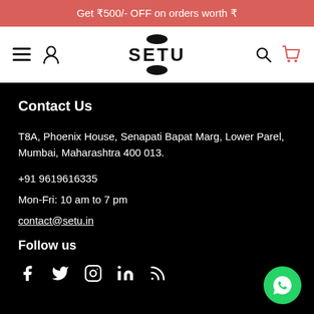Get ₹500/- OFF on orders worth ₹
[Figure (logo): SETU brand logo with oval shapes above and below the text]
Contact Us
T8A, Phoenix House, Senapati Bapat Marg, Lower Parel, Mumbai, Maharashtra 400 013.
+91 9619616335
Mon-Fri: 10 am to 7 pm
contact@setu.in
Follow us
[Figure (infographic): Social media icons: Facebook, Twitter, Instagram, LinkedIn, RSS feed]